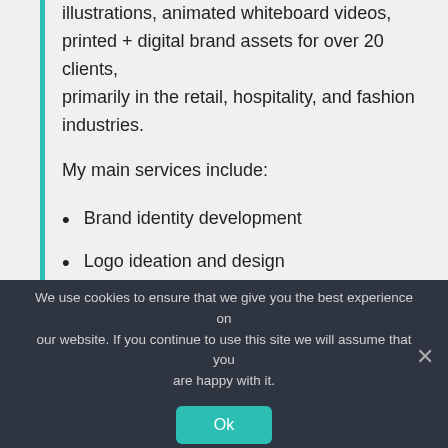illustrations, animated whiteboard videos, printed + digital brand assets for over 20 clients, primarily in the retail, hospitality, and fashion industries.
My main services include:
Brand identity development
Logo ideation and design
Product package design
Whiteboard animation videos
We use cookies to ensure that we give you the best experience on our website. If you continue to use this site we will assume that you are happy with it.